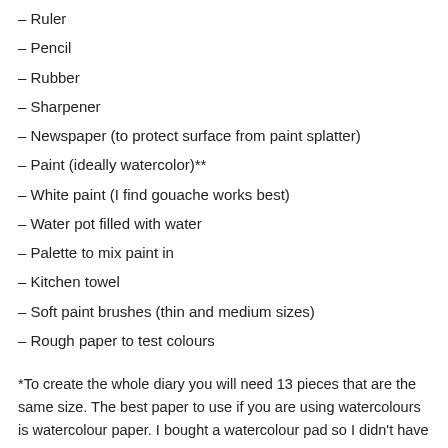– Ruler
– Pencil
– Rubber
– Sharpener
– Newspaper (to protect surface from paint splatter)
– Paint (ideally watercolor)**
– White paint (I find gouache works best)
– Water pot filled with water
– Palette to mix paint in
– Kitchen towel
– Soft paint brushes (thin and medium sizes)
– Rough paper to test colours
*To create the whole diary you will need 13 pieces that are the same size. The best paper to use if you are using watercolours is watercolour paper. I bought a watercolour pad so I didn't have to cut the paper! If you do not have watercolour paper sketch book